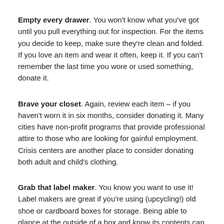Empty every drawer. You won't know what you've got until you pull everything out for inspection. For the items you decide to keep, make sure they're clean and folded. If you love an item and wear it often, keep it. If you can't remember the last time you wore or used something, donate it.
Brave your closet. Again, review each item – if you haven't worn it in six months, consider donating it. Many cities have non-profit programs that provide professional attire to those who are looking for gainful employment. Crisis centers are another place to consider donating both adult and child's clothing.
Grab that label maker. You know you want to use it! Label makers are great if you're using (upcycling!) old shoe or cardboard boxes for storage. Being able to glance at the outside of a box and know its contents can save you a lot of time in the future.